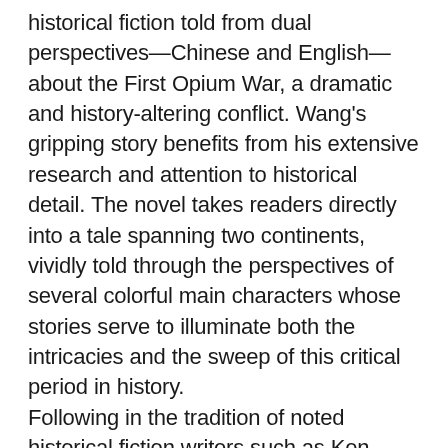historical fiction told from dual perspectives—Chinese and English—about the First Opium War, a dramatic and history-altering conflict. Wang's gripping story benefits from his extensive research and attention to historical detail. The novel takes readers directly into a tale spanning two continents, vividly told through the perspectives of several colorful main characters whose stories serve to illuminate both the intricacies and the sweep of this critical period in history.
Following in the tradition of noted historical fiction writers such as Ken Follett, Philippa Gregory, and James Clavell, Wang's novel artfully weaves true events and characters into the narrative, offering the reader a selective glimpse into a world—populated with rogue drug traders, imperialist government officials, religious